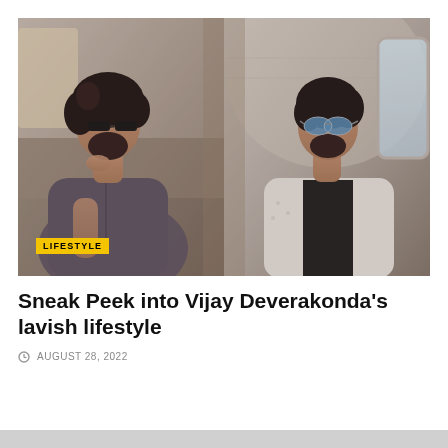[Figure (photo): Composite photo showing Vijay Deverakonda in two poses inside a private jet. Left: man with curly hair and sunglasses wearing grey shirt, seated with hand on chin. Right: man with dark hair and blue aviator sunglasses wearing white jacket over black top, seated in jet interior. A yellow 'LIFESTYLE' badge overlays the bottom-left of the image.]
Sneak Peek into Vijay Deverakonda's lavish lifestyle
AUGUST 28, 2022